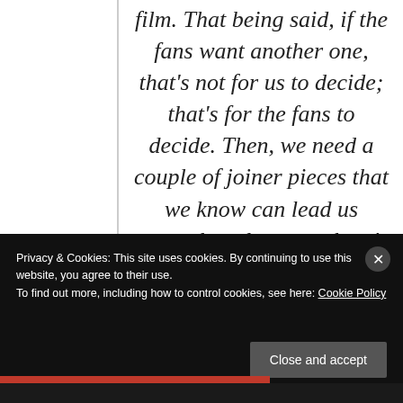film. That being said, if the fans want another one, that's not for us to decide; that's for the fans to decide. Then, we need a couple of joiner pieces that we know can lead us somewhere because there's a treasure
Privacy & Cookies: This site uses cookies. By continuing to use this website, you agree to their use.
To find out more, including how to control cookies, see here: Cookie Policy
Close and accept